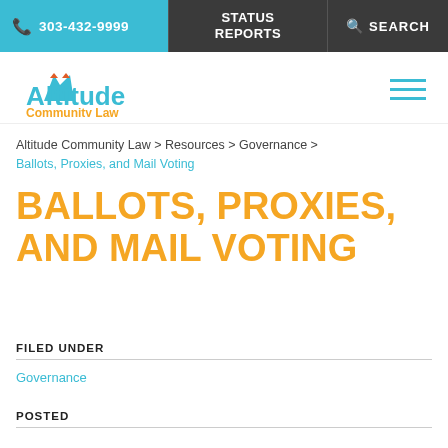📞 303-432-9999 | STATUS REPORTS | 🔍 SEARCH
[Figure (logo): Altitude Community Law logo with stylized mountain and text]
Altitude Community Law > Resources > Governance > Ballots, Proxies, and Mail Voting
BALLOTS, PROXIES, AND MAIL VOTING
FILED UNDER
Governance
POSTED